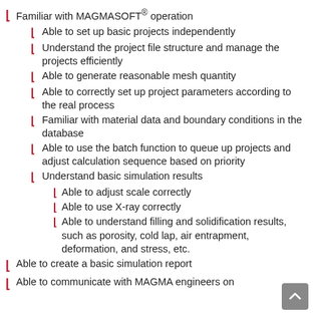Familiar with MAGMASOFT® operation
Able to set up basic projects independently
Understand the project file structure and manage the projects efficiently
Able to generate reasonable mesh quantity
Able to correctly set up project parameters according to the real process
Familiar with material data and boundary conditions in the database
Able to use the batch function to queue up projects and adjust calculation sequence based on priority
Understand basic simulation results
Able to adjust scale correctly
Able to use X-ray correctly
Able to understand filling and solidification results, such as porosity, cold lap, air entrapment, deformation, and stress, etc.
Able to create a basic simulation report
Able to communicate with MAGMA engineers on